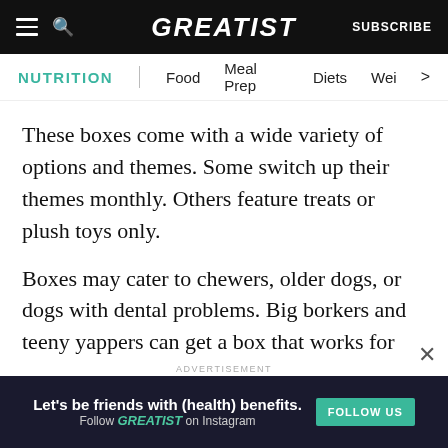GREATIST | SUBSCRIBE
NUTRITION | Food  Meal Prep  Diets  Wei >
These boxes come with a wide variety of options and themes. Some switch up their themes monthly. Others feature treats or plush toys only.
Boxes may cater to chewers, older dogs, or dogs with dental problems. Big borkers and teeny yappers can get a box that works for their personality, tastes (literally), and human's budget.
And we know you bought three Marvel-themed
[Figure (infographic): Advertisement banner: dark background with text 'Let’s be friends with (health) benefits. Follow GREATIST on Instagram' and a green 'FOLLOW US' button]
ADVERTISEMENT